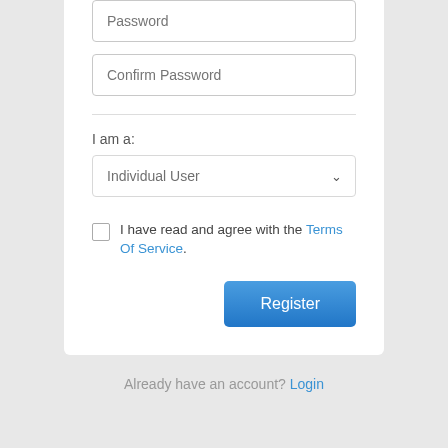[Figure (screenshot): Password input field with placeholder text 'Password']
[Figure (screenshot): Confirm Password input field with placeholder text 'Confirm Password']
I am a:
[Figure (screenshot): Dropdown select field showing 'Individual User' with chevron arrow]
I have read and agree with the Terms Of Service.
[Figure (screenshot): Register button]
Already have an account? Login